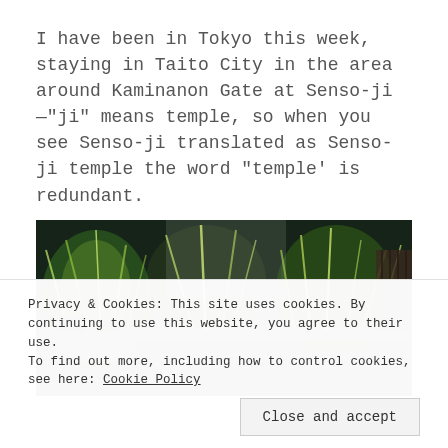I have been in Tokyo this week, staying in Taito City in the area around Kaminanon Gate at Senso-ji—"ji" means temple, so when you see Senso-ji translated as Senso-ji temple the word "temple' is redundant.
[Figure (photo): Photo of lush green tropical plants on a shelf or table, with dramatic artistic lighting giving a glowing/electric effect on the leaves. Image is partially cut off at the bottom.]
Privacy & Cookies: This site uses cookies. By continuing to use this website, you agree to their use.
To find out more, including how to control cookies, see here: Cookie Policy
Close and accept